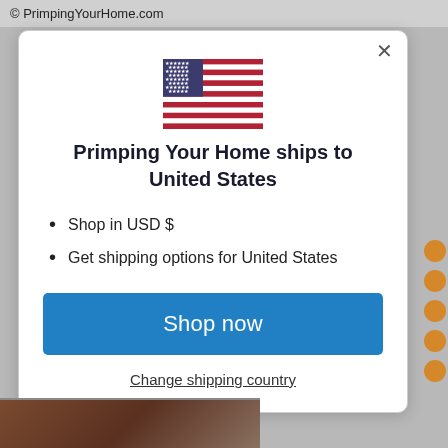© PrimpingYourHome.com
[Figure (illustration): US flag icon centered in modal]
Primping Your Home ships to United States
Shop in USD $
Get shipping options for United States
Shop now
Change shipping country